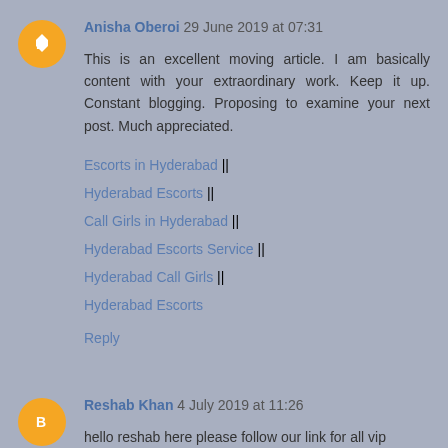Anisha Oberoi 29 June 2019 at 07:31
This is an excellent moving article. I am basically content with your extraordinary work. Keep it up. Constant blogging. Proposing to examine your next post. Much appreciated.
Escorts in Hyderabad ||
Hyderabad Escorts ||
Call Girls in Hyderabad ||
Hyderabad Escorts Service ||
Hyderabad Call Girls ||
Hyderabad Escorts
Reply
Reshab Khan 4 July 2019 at 11:26
hello reshab here please follow our link for all vip escorts in bangalore complete details